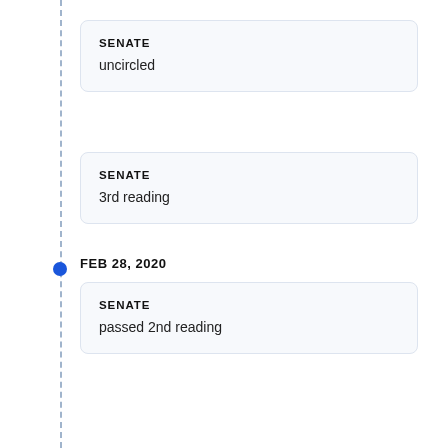SENATE
uncircled
SENATE
3rd reading
FEB 28, 2020
SENATE
passed 2nd reading